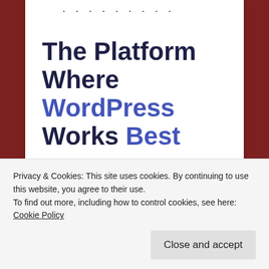[Figure (screenshot): Decorative dots row at top of white card]
The Platform Where WordPress Works Best
[Figure (other): Blue 'SEE PRICING' button]
REPORT THIS AD
Bother your friends!
[Figure (other): Twitter share button (blue circle with bird icon) and More share button]
Privacy & Cookies: This site uses cookies. By continuing to use this website, you agree to their use.
To find out more, including how to control cookies, see here: Cookie Policy
Close and accept